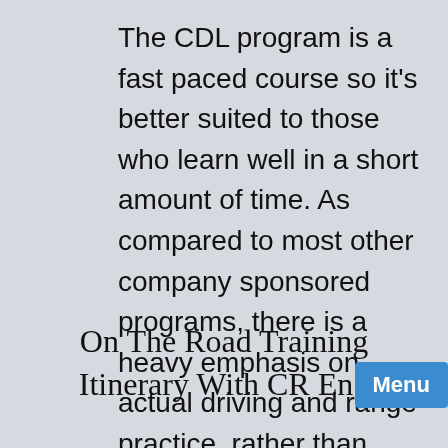The CDL program is a fast paced course so it's better suited to those who learn well in a short amount of time. As compared to most other company sponsored programs, there is a heavy emphasis on actual driving and range practice, rather than classroom time.
On The Road Training Itinerary With CR Eng